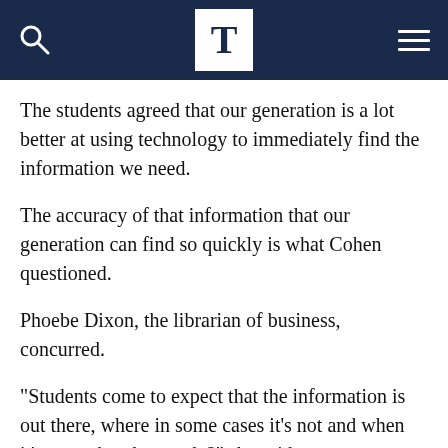T
The students agreed that our generation is a lot better at using technology to immediately find the information we need.
The accuracy of that information that our generation can find so quickly is what Cohen questioned.
Phoebe Dixon, the librarian of business, concurred.
“Students come to expect that the information is out there, where in some cases it’s not and when it’s not, what do you do?” she said.
Cohen, who teaches English literature, contends that laptops affect her classes negatively, which she says is part of students’ immediate need to receive